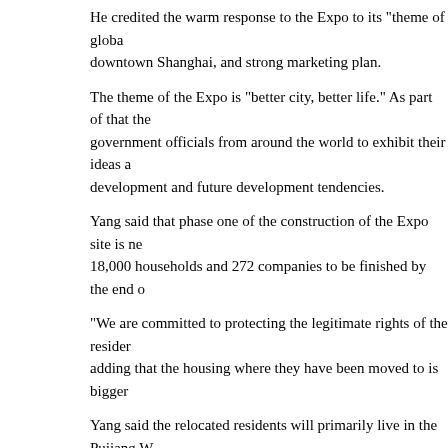He credited the warm response to the Expo to its theme of global downtown Shanghai, and strong marketing plan.
The theme of the Expo is "better city, better life." As part of that the government officials from around the world to exhibit their ideas a development and future development tendencies.
Yang said that phase one of the construction of the Expo site is ne 18,000 households and 272 companies to be finished by the end o
"We are committed to protecting the legitimate rights of the resider adding that the housing where they have been moved to is bigger
Yang said the relocated residents will primarily live in the Pujiang W Sanlin World Expo residential area, which have a total floor space
(Shanghai Daily April 25, 2006)
Tools: Save | Print | E-mail | Most Read
SERVICES  SiteMap | About Us | RSS | Newsletter | Feedback
[Figure (logo): China.org.cn logo with red emblem and bold red text]